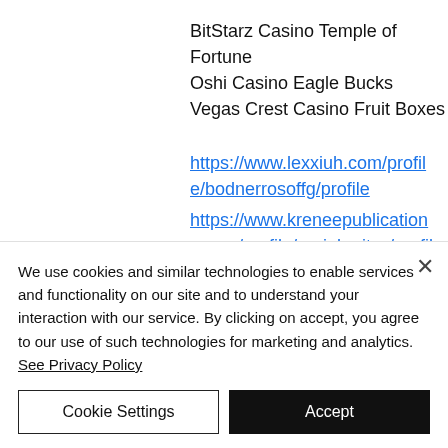BitStarz Casino Temple of Fortune
Oshi Casino Eagle Bucks
Vegas Crest Casino Fruit Boxes
https://www.lexxiuh.com/profile/bodnerrosoffg/profile
https://www.kreneepublications.com/profile/perinkuritzs/profile
https://www.sethgunter.com/profile/tylershaftoi/profile
https://www.economiasagrada.com/profile/crebsbrdarl/profile
We use cookies and similar technologies to enable services and functionality on our site and to understand your interaction with our service. By clicking on accept, you agree to our use of such technologies for marketing and analytics. See Privacy Policy
Cookie Settings
Accept